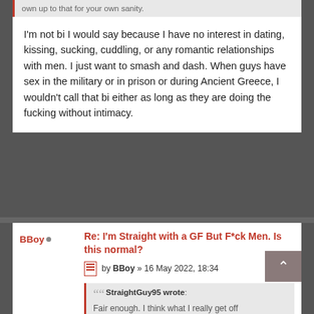own up to that for your own sanity.
I'm not bi I would say because I have no interest in dating, kissing, sucking, cuddling, or any romantic relationships with men. I just want to smash and dash. When guys have sex in the military or in prison or during Ancient Greece, I wouldn't call that bi either as long as they are doing the fucking without intimacy.
BBoy
Re: I'm Straight with a GF But F*ck Men. Is this normal?
by BBoy » 16 May 2022, 18:34
StraightGuy95 wrote: Fair enough. I think what I really get off